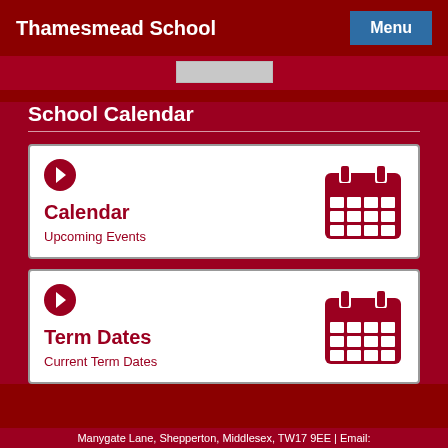Thamesmead School
School Calendar
Calendar
Upcoming Events
Term Dates
Current Term Dates
Manygate Lane, Shepperton, Middlesex, TW17 9EE | Email: